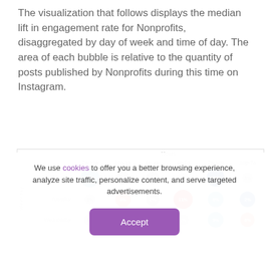The visualization that follows displays the median lift in engagement rate for Nonprofits, disaggregated by day of week and time of day. The area of each bubble is relative to the quantity of posts published by Nonprofits during this time on Instagram.
[Figure (bubble-chart): Bubble chart showing median lift in engagement rate for Nonprofits by day of week (Monday, Tuesday, Wednesday) and time of day (7a-10a, 10a-1p, 1p-4p, 4p-7p, 7p-10p, 10p-7a). Bubble size relative to posts published. Values shown as percentages.]
We use cookies to offer you a better browsing experience, analyze site traffic, personalize content, and serve targeted advertisements.
Accept